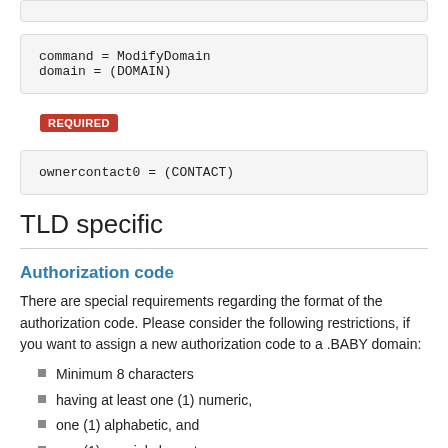[Figure (other): Top partial box from previous section]
command = ModifyDomain
domain = (DOMAIN)
REQUIRED
ownercontact0 = (CONTACT)
TLD specific
Authorization code
There are special requirements regarding the format of the authorization code. Please consider the following restrictions, if you want to assign a new authorization code to a .BABY domain:
Minimum 8 characters
having at least one (1) numeric,
one (1) alphabetic, and
one (1) special character